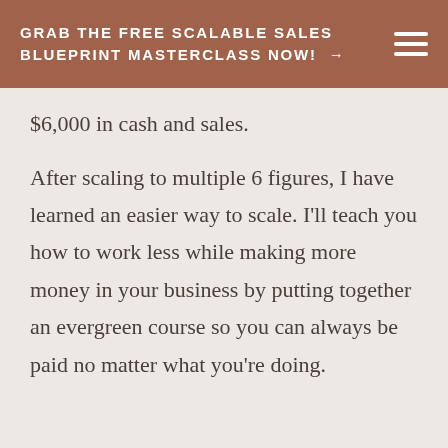GRAB THE FREE SCALABLE SALES BLUEPRINT MASTERCLASS NOW! →
$6,000 in cash and sales.
After scaling to multiple 6 figures, I have learned an easier way to scale. I'll teach you how to work less while making more money in your business by putting together an evergreen course so you can always be paid no matter what you're doing.